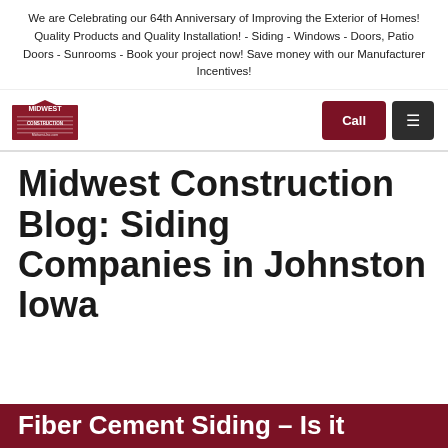We are Celebrating our 64th Anniversary of Improving the Exterior of Homes! Quality Products and Quality Installation! - Siding - Windows - Doors, Patio Doors - Sunrooms - Book your project now! Save money with our Manufacturer Incentives!
[Figure (logo): Midwest Construction logo with red and white design and building imagery]
Midwest Construction Blog: Siding Companies in Johnston Iowa
Fiber Cement Siding – Is it